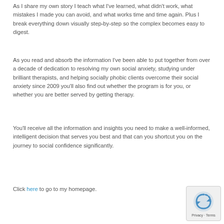As I share my own story I teach what I've learned, what didn't work, what mistakes I made you can avoid, and what works time and time again. Plus I break everything down visually step-by-step so the complex becomes easy to digest.
As you read and absorb the information I've been able to put together from over a decade of dedication to resolving my own social anxiety, studying under brilliant therapists, and helping socially phobic clients overcome their social anxiety since 2009 you'll also find out whether the program is for you, or whether you are better served by getting therapy.
You'll receive all the information and insights you need to make a well-informed, intelligent decision that serves you best and that can you shortcut you on the journey to social confidence significantly.
Click here to go to my homepage.
[Figure (logo): Privacy & Terms reCAPTCHA badge with circular arrow icon]